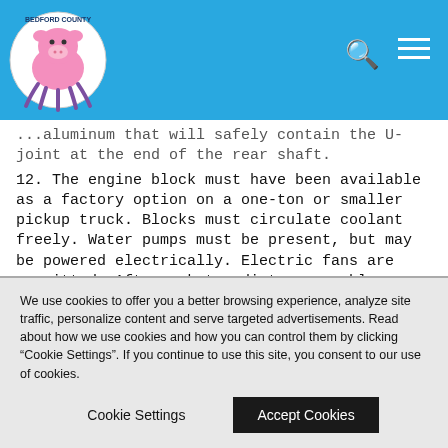Bedford County — site header with logo, search, and menu icons
...aluminum that will safely contain the U-joint at the end of the rear shaft.
12. The engine block must have been available as a factory option on a one-ton or smaller pickup truck. Blocks must circulate coolant freely. Water pumps must be present, but may be powered electrically. Electric fans are permitted. Aftermarket radiator assembles are permitted but must be securely mounted in the same area as the OEM unit. Differentials no larger than 11.5" diameter. Classes will be 2.5/2.6. No bushed blowers from 2.8–3.0 13. Vehicle must appear inspectable. Lights, fenders, glass in place.
We use cookies to offer you a better browsing experience, analyze site traffic, personalize content and serve targeted advertisements. Read about how we use cookies and how you can control them by clicking "Cookie Settings". If you continue to use this site, you consent to our use of cookies.